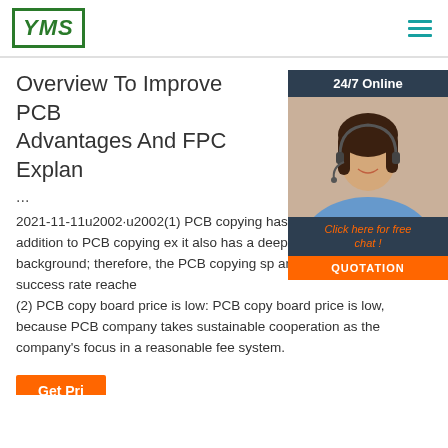YMS [logo] | hamburger menu
[Figure (photo): Customer service agent photo with 24/7 Online bar, 'Click here for free chat!' text, and QUOTATION button]
Overview To Improve PCB Advantages And FPC Explan ...
...
2021-11-11u2002·u2002(1) PCB copying has success rate: In addition to PCB copying ex it also has a deep manufacturing design background; therefore, the PCB copying sp and a success, and the success rate reache (2) PCB copy board price is low: PCB copy board price is low, because PCB company takes sustainable cooperation as the company's focus in a reasonable fee system.
Get Pri...